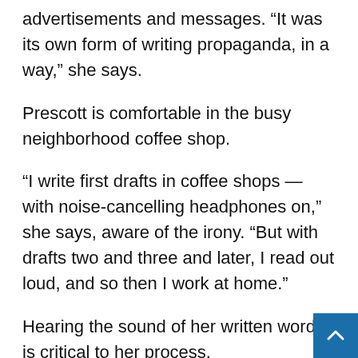advertisements and messages. “It was its own form of writing propaganda, in a way,” she says.
Prescott is comfortable in the busy neighborhood coffee shop.
“I write first drafts in coffee shops — with noise-cancelling headphones on,” she says, aware of the irony. “But with drafts two and three and later, I read out loud, and so then I work at home.”
Hearing the sound of her written words is critical to her process.
“I think it all goes back to when literature was sim…